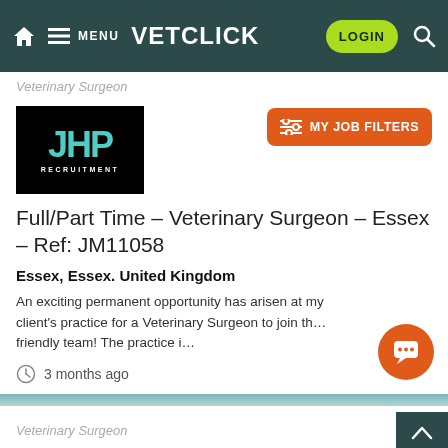VETCLICK — MENU | LOGIN | Search
Veterinary Surgeon
[Figure (logo): JHP Recruitment logo — black background with teal JHP letters and white RECRUITMENT text]
MY JOB FILTERS
Full/Part Time – Veterinary Surgeon – Essex – Ref: JM11058
Essex, Essex. United Kingdom
An exciting permanent opportunity has arisen at my client's practice for a Veterinary Surgeon to join th… friendly team! The practice i…
3 months ago
Veterinary Surgeon